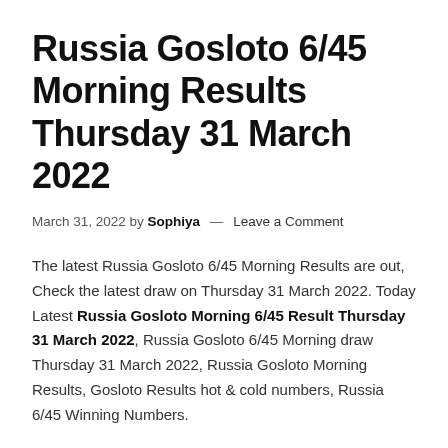Russia Gosloto 6/45 Morning Results Thursday 31 March 2022
March 31, 2022 by Sophiya — Leave a Comment
The latest Russia Gosloto 6/45 Morning Results are out, Check the latest draw on Thursday 31 March 2022. Today Latest Russia Gosloto Morning 6/45 Result Thursday 31 March 2022, Russia Gosloto 6/45 Morning draw Thursday 31 March 2022, Russia Gosloto Morning Results, Gosloto Results hot & cold numbers, Russia 6/45 Winning Numbers.